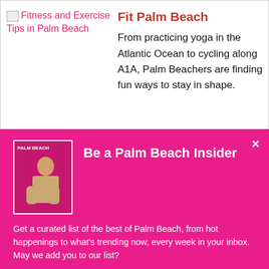[Figure (illustration): Broken image placeholder for Fitness and Exercise Tips in Palm Beach article thumbnail]
Fit Palm Beach
From practicing yoga in the Atlantic Ocean to cycling along A1A, Palm Beachers are finding fun ways to stay in shape.
Be a Palm Beach Insider
Get a curated list of the best of Palm Beach, from hot happenings to what's trending now, every week in your inbox. May we add you to our list?
Sign Me Up!